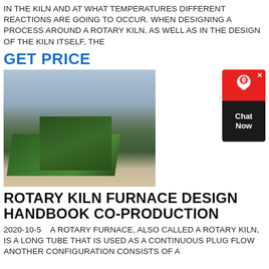IN THE KILN AND AT WHAT TEMPERATURES DIFFERENT REACTIONS ARE GOING TO OCCUR. WHEN DESIGNING A PROCESS AROUND A ROTARY KILN, AS WELL AS IN THE DESIGN OF THE KILN ITSELF, THE
GET PRICE
[Figure (photo): Photograph of a large green industrial rotary kiln / crushing machine on an outdoor job site with sandy ground and cloudy sky]
[Figure (other): Chat Now widget with red top section featuring a headset/chat icon and X close button, and dark bottom section with 'Chat Now' text]
ROTARY KILN FURNACE DESIGN HANDBOOK CO-PRODUCTION
2020-10-5   A ROTARY FURNACE, ALSO CALLED A ROTARY KILN, IS A LONG TUBE THAT IS USED AS A CONTINUOUS PLUG FLOW ANOTHER CONFIGURATION CONSISTS OF A